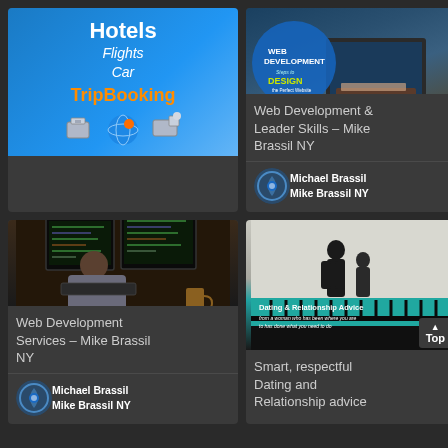[Figure (screenshot): TripBooking advertisement showing Hotels, Flights, Car with travel icons on blue background]
[Figure (screenshot): Web Development & Design - Steps to Design the Perfect Website book cover with laptop and hands]
Web Development & Leader Skills – Mike Brassil NY
Michael Brassil
Mike Brassil NY
[Figure (photo): Person working at dual monitor computer setup in dim room]
Web Development Services – Mike Brassil NY
Michael Brassil
Mike Brassil NY
[Figure (screenshot): Dating & Relationship Advice book cover with silhouette of couple on bridge]
Smart, respectful Dating and Relationship advice